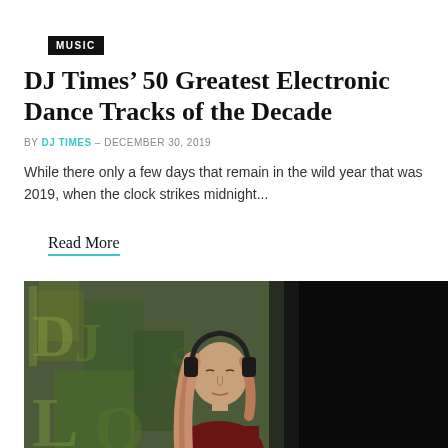MUSIC
DJ Times’ 50 Greatest Electronic Dance Tracks of the Decade
BY DJ TIMES – DECEMBER 30, 2019
While there only a few days that remain in the wild year that was 2019, when the clock strikes midnight...
Read More
[Figure (photo): A DJ with long hair wearing headphones, eyes closed, performing in front of a colorful projected background with dark right side]